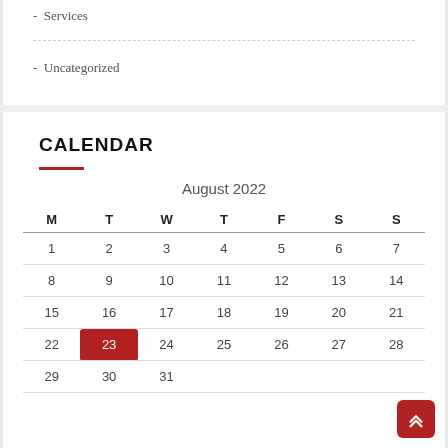- Services
- Uncategorized
CALENDAR
| M | T | W | T | F | S | S |
| --- | --- | --- | --- | --- | --- | --- |
| 1 | 2 | 3 | 4 | 5 | 6 | 7 |
| 8 | 9 | 10 | 11 | 12 | 13 | 14 |
| 15 | 16 | 17 | 18 | 19 | 20 | 21 |
| 22 | 23 | 24 | 25 | 26 | 27 | 28 |
| 29 | 30 | 31 |  |  |  |  |